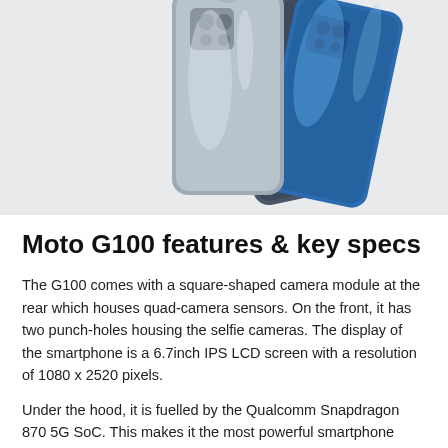[Figure (photo): Three Moto G100 smartphones shown from behind, fanned out. Colors are dark gray/slate, silver/gray, and blue. The backs show a square camera module at top. The phones are partially cropped at the top of the image.]
Moto G100 features & key specs
The G100 comes with a square-shaped camera module at the rear which houses quad-camera sensors. On the front, it has two punch-holes housing the selfie cameras. The display of the smartphone is a 6.7inch IPS LCD screen with a resolution of 1080 x 2520 pixels.
Under the hood, it is fuelled by the Qualcomm Snapdragon 870 5G SoC. This makes it the most powerful smartphone